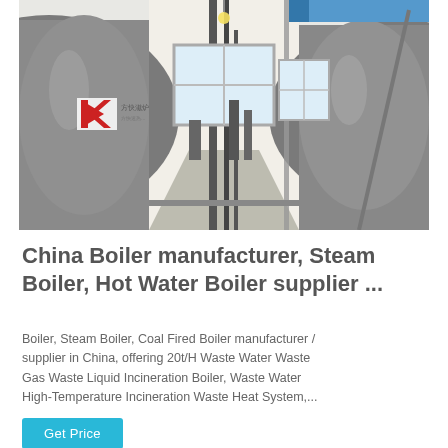[Figure (photo): Industrial boilers in a factory room. Two large cylindrical boilers with piping and fittings are visible on left and right, with a window letting in light in the background. A red and white logo is visible on the left boiler.]
China Boiler manufacturer, Steam Boiler, Hot Water Boiler supplier ...
Boiler, Steam Boiler, Coal Fired Boiler manufacturer / supplier in China, offering 20t/H Waste Water Waste Gas Waste Liquid Incineration Boiler, Waste Water High-Temperature Incineration Waste Heat System,...
Get Price